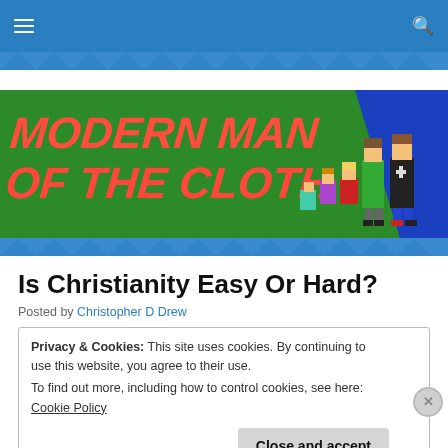[Figure (screenshot): Website navigation bar with hamburger menu icon on left and search icon on right, blue background]
[Figure (logo): Modern Man of the Cloth website banner with pixel art characters and stylized red italic text on green and blue background]
Is Christianity Easy Or Hard?
Posted by Christopher D Drew
Privacy & Cookies: This site uses cookies. By continuing to use this website, you agree to their use.
To find out more, including how to control cookies, see here: Cookie Policy

Close and accept